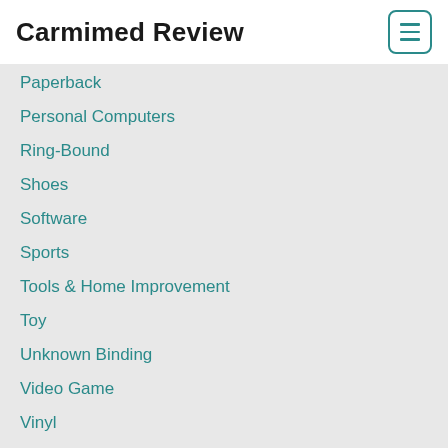Carmimed Review
Paperback
Personal Computers
Ring-Bound
Shoes
Software
Sports
Tools & Home Improvement
Toy
Unknown Binding
Video Game
Vinyl
Wireless Phone Accessory